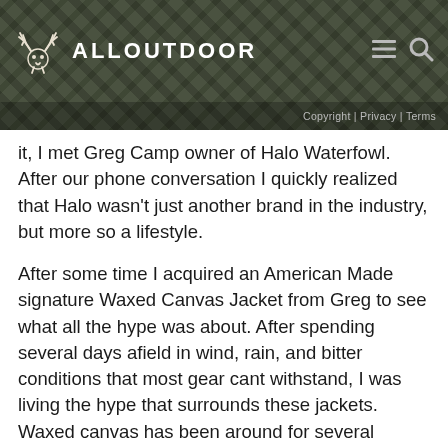ALLOUTDOOR | Copyright | Privacy | Terms
it, I met Greg Camp owner of Halo Waterfowl. After our phone conversation I quickly realized that Halo wasn't just another brand in the industry, but more so a lifestyle.
After some time I acquired an American Made signature Waxed Canvas Jacket from Greg to see what all the hype was about. After spending several days afield in wind, rain, and bitter conditions that most gear cant withstand, I was living the hype that surrounds these jackets. Waxed canvas has been around for several generations proving that it can withstand the test of time no matter the conditions and it blends in well with many different surrounding.
Thinking back, there is one hunt in particular that stands out showcasing the durability of these jackets. It was a